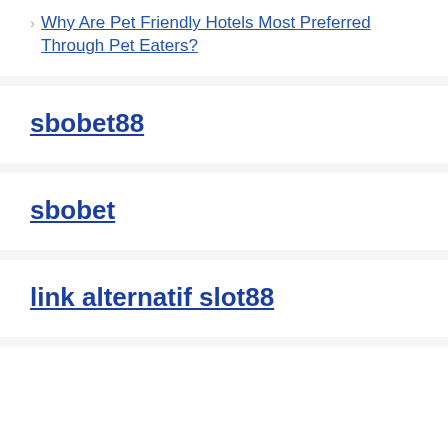> Why Are Pet Friendly Hotels Most Preferred Through Pet Eaters?
sbobet88
sbobet
link alternatif slot88